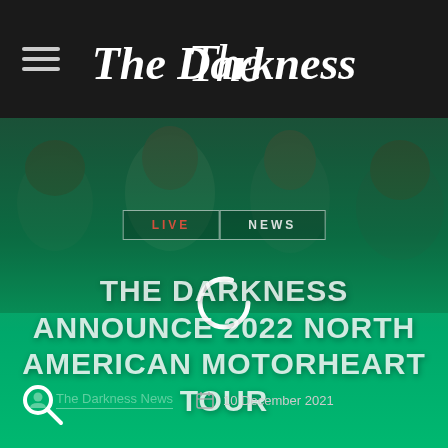The Darkness
[Figure (photo): Band photo of The Darkness members, four people with long hair and sunglasses, dark teal/green overlay]
LIVE  NEWS
THE DARKNESS ANNOUNCE 2022 NORTH AMERICAN MOTORHEART TOUR
The Darkness News  10 December 2021